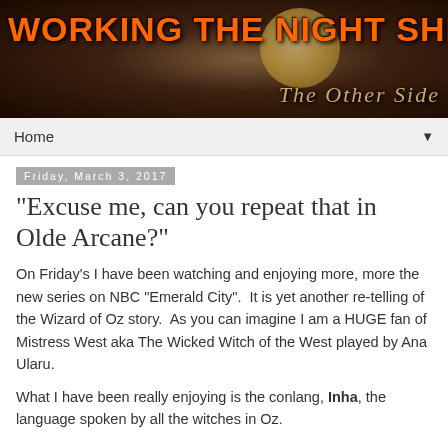[Figure (illustration): Blog banner image with dark gothic background and moon, showing 'WORKING THE NIGHT SHIFT' in orange text and 'The Other Side' in gold serif text]
Home ▼
Friday, March 3, 2017
"Excuse me, can you repeat that in Olde Arcane?"
On Friday's I have been watching and enjoying more, more the new series on NBC "Emerald City".  It is yet another re-telling of the Wizard of Oz story.  As you can imagine I am a HUGE fan of Mistress West aka The Wicked Witch of the West played by Ana Ularu.
What I have been really enjoying is the conlang, Inha, the language spoken by all the witches in Oz.